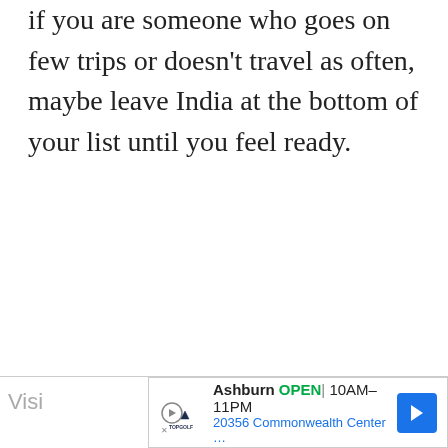if you are someone who goes on few trips or doesn't travel as often, maybe leave India at the bottom of your list until you feel ready.
[Figure (other): Advertisement bar at bottom of page showing Topgolf Ashburn location: OPEN 10AM-11PM, 20356 Commonwealth Center..., with navigation arrow icon]